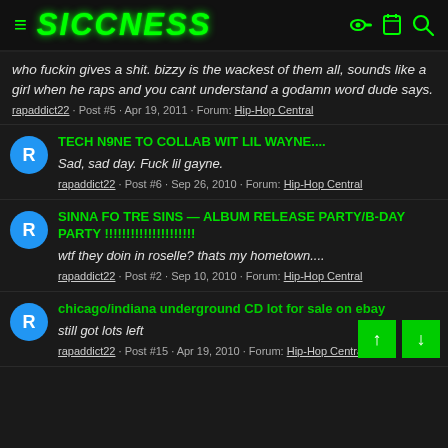SICCNESS
who fuckin gives a shit. bizzy is the wackest of them all, sounds like a girl when he raps and you cant understand a godamn word dude says.
rapaddict22 · Post #5 · Apr 19, 2011 · Forum: Hip-Hop Central
TECH N9NE TO COLLAB WIT LIL WAYNE....
Sad, sad day. Fuck lil gayne.
rapaddict22 · Post #6 · Sep 26, 2010 · Forum: Hip-Hop Central
SINNA FO TRE SINS — ALBUM RELEASE PARTY/B-DAY PARTY !!!!!!!!!!!!!!!!!!!
wtf they doin in roselle? thats my hometown....
rapaddict22 · Post #2 · Sep 10, 2010 · Forum: Hip-Hop Central
chicago/indiana underground CD lot for sale on ebay
still got lots left
rapaddict22 · Post #15 · Apr 19, 2010 · Forum: Hip-Hop Central